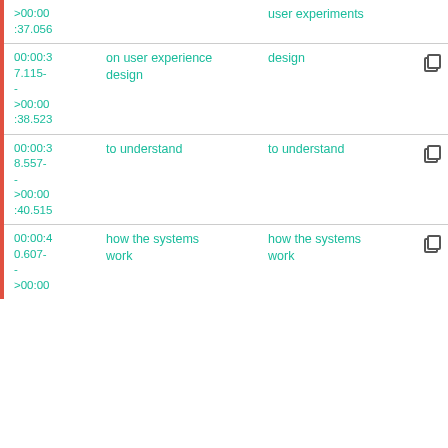| Timestamp | Original | Translation | Actions |
| --- | --- | --- | --- |
| >00:00
:37.056 | user experiments |  |  |
| 00:00:37.115-
-
>00:00
:38.523 | on user experience design
design | design | copy/replay |
| 00:00:38.557-
-
>00:00
:40.515 | to understand | to understand | copy/replay |
| 00:00:40.607-
-
>00:00 | how the systems work | how the systems work | copy/replay |